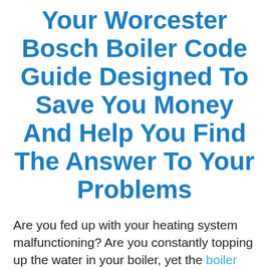Your Worcester Bosch Boiler Code Guide Designed To Save You Money And Help You Find The Answer To Your Problems
Are you fed up with your heating system malfunctioning? Are you constantly topping up the water in your boiler, yet the boiler pressure continues to drop. As the original leak detection company in the UK, we are regularly called out to locate the source of a leak, but in many cases, your heating system does